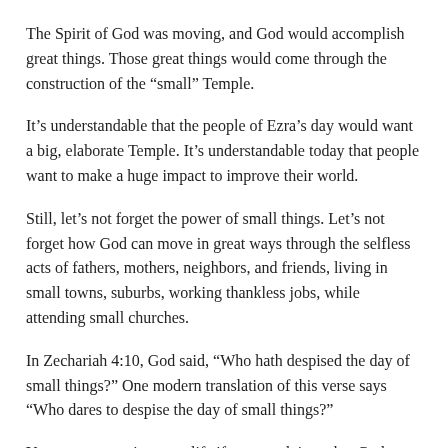The Spirit of God was moving, and God would accomplish great things. Those great things would come through the construction of the “small” Temple.
It’s understandable that the people of Ezra’s day would want a big, elaborate Temple. It’s understandable today that people want to make a huge impact to improve their world.
Still, let’s not forget the power of small things. Let’s not forget how God can move in great ways through the selfless acts of fathers, mothers, neighbors, and friends, living in small towns, suburbs, working thankless jobs, while attending small churches.
In Zechariah 4:10, God said, “Who hath despised the day of small things?” One modern translation of this verse says “Who dares to despise the day of small things?”
You are not wasting your life if you are doing what God wants you to do.